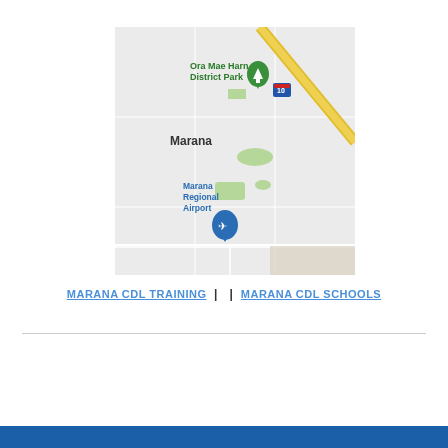[Figure (map): Google Maps view of Marana, Arizona area showing Ora Mae Harn District Park with green map pin, Marana label, Marana Regional Airport with blue airplane map pin, and Interstate 10 highway diagonal road in yellow/gold.]
MARANA CDL TRAINING  |  |  MARANA CDL SCHOOLS